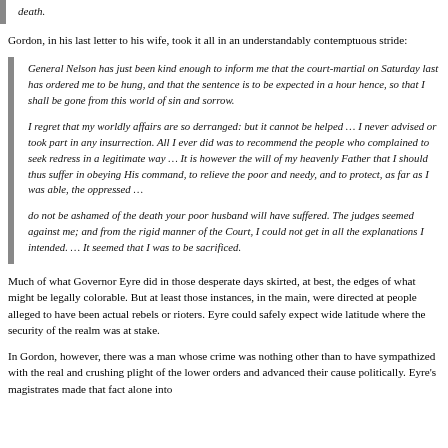death.
Gordon, in his last letter to his wife, took it all in an understandably contemptuous stride:
General Nelson has just been kind enough to inform me that the court-martial on Saturday last has ordered me to be hung, and that the sentence is to be expected in a hour hence, so that I shall be gone from this world of sin and sorrow.

I regret that my worldly affairs are so derranged: but it cannot be helped … I never advised or took part in any insurrection. All I ever did was to recommend the people who complained to seek redress in a legitimate way … It is however the will of my heavenly Father that I should thus suffer in obeying His command, to relieve the poor and needy, and to protect, as far as I was able, the oppressed …

do not be ashamed of the death your poor husband will have suffered. The judges seemed against me; and from the rigid manner of the Court, I could not get in all the explanations I intended. … It seemed that I was to be sacrificed.
Much of what Governor Eyre did in those desperate days skirted, at best, the edges of what might be legally colorable. But at least those instances, in the main, were directed at people alleged to have been actual rebels or rioters. Eyre could safely expect wide latitude where the security of the realm was at stake.
In Gordon, however, there was a man whose crime was nothing other than to have sympathized with the real and crushing plight of the lower orders and advanced their cause politically. Eyre's magistrates made that fact alone into